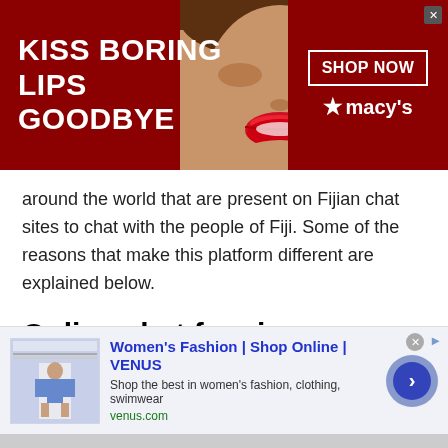[Figure (screenshot): Top advertisement banner for Macy's with dark red background, text 'KISS BORING LIPS GOODBYE', image of woman's face with red lips, 'SHOP NOW' button, and Macy's star logo]
around the world that are present on Fijian chat sites to chat with the people of Fiji. Some of the reasons that make this platform different are explained below.
Online chat free in interesting chatrooms:
Talkwithstranger platform enables the users to get into the different chatrooms. These chatrooms cater
[Figure (screenshot): Bottom advertisement for Women's Fashion | Shop Online | VENUS with text 'Shop the best in women's fashion, clothing, swimwear' and venus.com URL, with a blue circular arrow button]